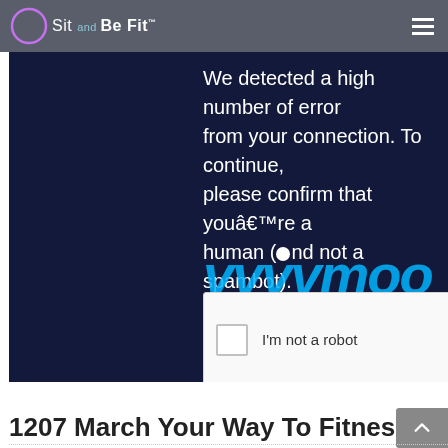Sit and Be Fit
[Figure (screenshot): Dark navy blue embedded video area showing a CAPTCHA/bot-detection overlay from Vimeo. Text reads: 'We detected a high number of errors from your connection. To continue, please confirm that youâ€™re a human (and not a spambot).' with large italic Vimeo-style text below and a reCAPTCHA checkbox widget saying "I'm not a robot" with reCAPTCHA logo, Privacy and Terms links.]
Help with Streaming
1207 March Your Way To Fitness
Episode Description